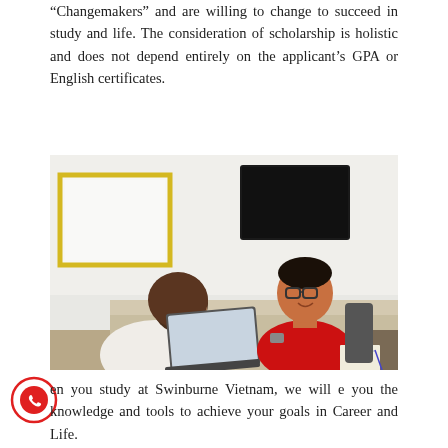“Changemakers” and are willing to change to succeed in study and life. The consideration of scholarship is holistic and does not depend entirely on the applicant’s GPA or English certificates.
[Figure (photo): Two students sitting at a table in a bright office room. A female student with long brown hair sits with her back to the camera working on a laptop. Across from her, a male student wearing glasses and a red polo shirt smiles. A TV screen and whiteboard are visible in the background.]
en you study at Swinburne Vietnam, we will e you the knowledge and tools to achieve your goals in Career and Life.